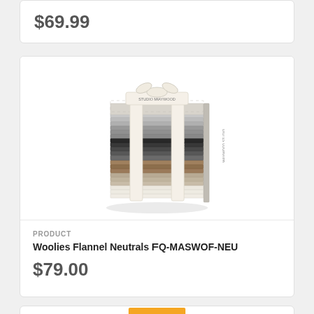$69.99
[Figure (illustration): Stack of fabric fat quarters in neutral/grey/brown tones tied with two ribbon bands labeled MAYWOOD STUDIO, arranged in a cube shape bundle]
PRODUCT
Woolies Flannel Neutrals FQ-MASWOF-NEU
$79.00